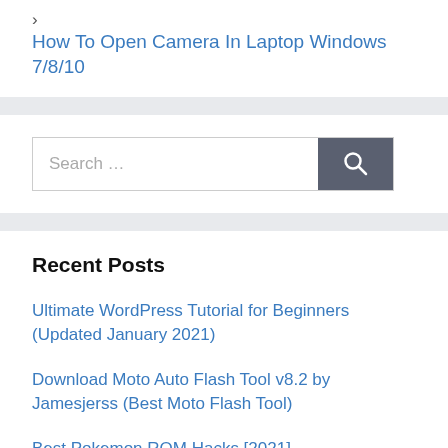> How To Open Camera In Laptop Windows 7/8/10
Search …
Recent Posts
Ultimate WordPress Tutorial for Beginners (Updated January 2021)
Download Moto Auto Flash Tool v8.2 by Jamesjerss (Best Moto Flash Tool)
Best Pokemon ROM Hacks [2021]